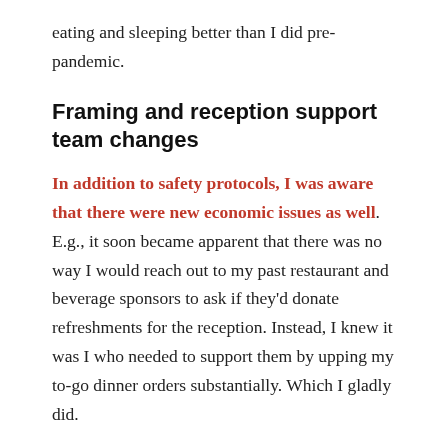eating and sleeping better than I did pre-pandemic.
Framing and reception support team changes
In addition to safety protocols, I was aware that there were new economic issues as well. E.g., it soon became apparent that there was no way I would reach out to my past restaurant and beverage sponsors to ask if they'd donate refreshments for the reception. Instead, I knew it was I who needed to support them by upping my to-go dinner orders substantially. Which I gladly did.
I also couldn't have the artwork framed in wood and plexiglass the way I had last time via the